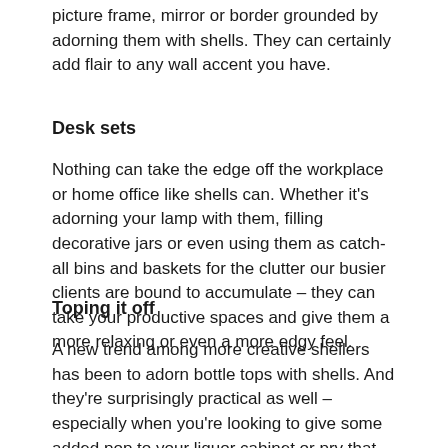picture frame, mirror or border grounded by adorning them with shells. They can certainly add flair to any wall accent you have.
Desk sets
Nothing can take the edge off the workplace or home office like shells can. Whether it’s adorning your lamp with them, filling decorative jars or even using them as catch-all bins and baskets for the clutter our busier clients are bound to accumulate – they can take your productive spaces and give them a more relaxing or even a more edgy feel.
Toping it off
A new trend among more creative shellers has been to adorn bottle tops with shells. And they’re surprisingly practical as well – especially when you’re looking to give some added pop to your liquor cabinet or pry that pesky cork out of the top of a